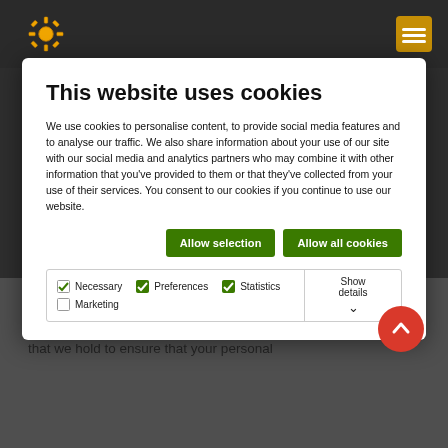This website uses cookies
We use cookies to personalise content, to provide social media features and to analyse our traffic. We also share information about your use of our site with our social media and analytics partners who may combine it with other information that you've provided to them or that they've collected from your use of their services. You consent to our cookies if you continue to use our website.
Allow selection   Allow all cookies
Necessary   Preferences   Statistics   Marketing   Show details
monitored by the club.
We undertake regular reviews of who has access to information that we hold to ensure that your personal